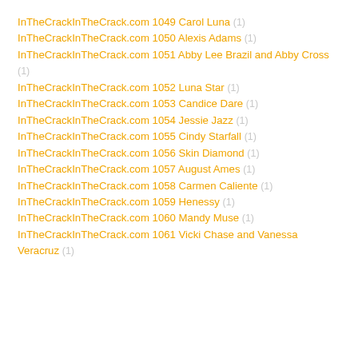InTheCrackInTheCrack.com 1049 Carol Luna (1)
InTheCrackInTheCrack.com 1050 Alexis Adams (1)
InTheCrackInTheCrack.com 1051 Abby Lee Brazil and Abby Cross (1)
InTheCrackInTheCrack.com 1052 Luna Star (1)
InTheCrackInTheCrack.com 1053 Candice Dare (1)
InTheCrackInTheCrack.com 1054 Jessie Jazz (1)
InTheCrackInTheCrack.com 1055 Cindy Starfall (1)
InTheCrackInTheCrack.com 1056 Skin Diamond (1)
InTheCrackInTheCrack.com 1057 August Ames (1)
InTheCrackInTheCrack.com 1058 Carmen Caliente (1)
InTheCrackInTheCrack.com 1059 Henessy (1)
InTheCrackInTheCrack.com 1060 Mandy Muse (1)
InTheCrackInTheCrack.com 1061 Vicki Chase and Vanessa Veracruz (1)